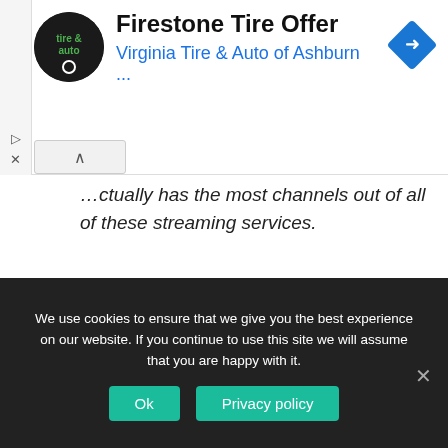[Figure (other): Advertisement banner for Firestone Tire Offer by Virginia Tire & Auto of Ashburn, with circular logo and blue navigation icon]
…ctually has the most channels out of all of these streaming services.
When it comes to college football, FuboTV is a great option. FuboTV has a wide range of channels, and the overall system is very easy to use. While the price may be a bit more pricey, you'll find that FuboTV is worth every penny.
We use cookies to ensure that we give you the best experience on our website. If you continue to use this site we will assume that you are happy with it. Ok  Privacy policy